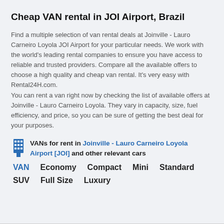Cheap VAN rental in JOI Airport, Brazil
Find a multiple selection of van rental deals at Joinville - Lauro Carneiro Loyola JOI Airport for your particular needs. We work with the world's leading rental companies to ensure you have access to reliable and trusted providers. Compare all the available offers to choose a high quality and cheap van rental. It's very easy with Rental24H.com.
You can rent a van right now by checking the list of available offers at Joinville - Lauro Carneiro Loyola. They vary in capacity, size, fuel efficiency, and price, so you can be sure of getting the best deal for your purposes.
VANs for rent in Joinville - Lauro Carneiro Loyola Airport [JOI] and other relevant cars
VAN
Economy
Compact
Mini
Standard
SUV
Full Size
Luxury